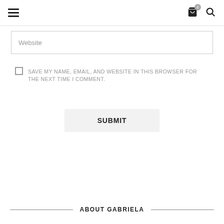Navigation header with hamburger menu, cart icon (0), and search icon
Website
SAVE MY NAME, EMAIL, AND WEBSITE IN THIS BROWSER FOR THE NEXT TIME I COMMENT.
SUBMIT
ABOUT GABRIELA